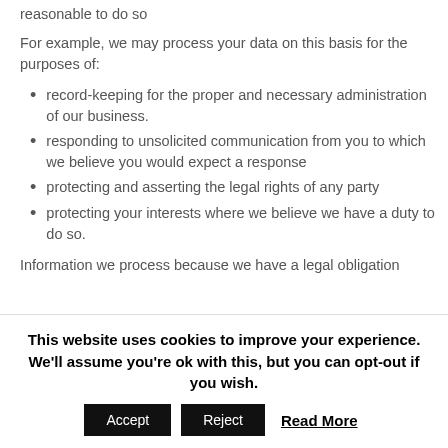reasonable to do so
For example, we may process your data on this basis for the purposes of:
record-keeping for the proper and necessary administration of our business.
responding to unsolicited communication from you to which we believe you would expect a response
protecting and asserting the legal rights of any party
protecting your interests where we believe we have a duty to do so.
Information we process because we have a legal obligation
This website uses cookies to improve your experience. We'll assume you're ok with this, but you can opt-out if you wish.